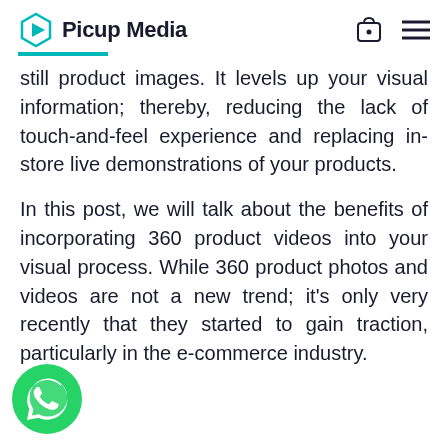Picup Media
still product images. It levels up your visual information; thereby, reducing the lack of touch-and-feel experience and replacing in-store live demonstrations of your products.
In this post, we will talk about the benefits of incorporating 360 product videos into your visual process. While 360 product photos and videos are not a new trend; it's only very recently that they started to gain traction, particularly in the e-commerce industry.
[Figure (logo): WhatsApp floating button icon (green circle with phone handset)]